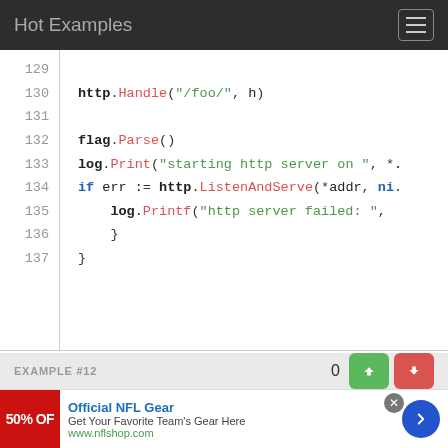Hot Examples
[Figure (screenshot): Code block showing Go source lines 129-137 with syntax highlighting. Line 129 blank, line 130: http.Handle("/foo/", h), line 131 blank, line 132: flag.Parse(), line 133: log.Print("starting http server on ", *., line 134: if err := http.ListenAndServe(*addr, ni., line 135: log.Printf("http server failed: ",, line 136: }, line 137: }]
EXAMPLE #12
[Figure (screenshot): Like/dislike vote buttons showing score 0 with green thumbs up and red thumbs down buttons, and Show file button with link icon]